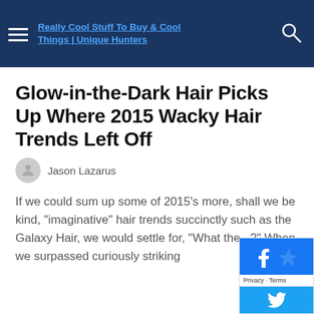Really Cool Stuff To Buy & Cool Things | Unique Hunters
Glow-in-the-Dark Hair Picks Up Where 2015 Wacky Hair Trends Left Off
Jason Lazarus
If we could sum up some of 2015's more, shall we be kind, "imaginative" hair trends succinctly such as the Galaxy Hair, we would settle for, "What the...?" When we surpassed curiously striking
[Figure (illustration): Light blue radial burst background with a dark four-pointed star sparkle in the center bottom, and small white dots/sparkles scattered around]
[Figure (screenshot): Facebook social share widget overlay with Privacy and Terms links, and a Twitter button below]